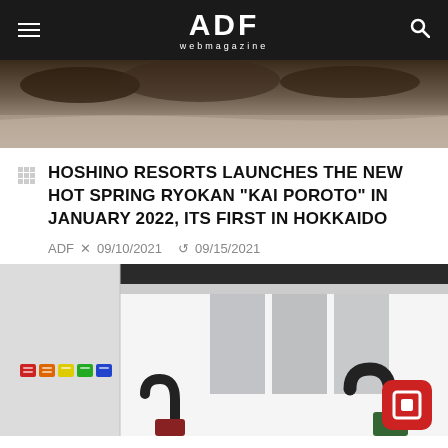ADF webmagazine
[Figure (photo): Top portion of an outdoor scene with water/lake reflection and dark treeline, cropped view]
HOSHINO RESORTS LAUNCHES THE NEW HOT SPRING RYOKAN “KAI POROTO” IN JANUARY 2022, ITS FIRST IN HOKKAIDO
ADF × 09/10/2021   🔁 09/15/2021
[Figure (photo): Interior gallery/exhibition space with white walls, gray rectangular panels, colorful sticker artwork on left wall, and sculptural hook-shaped black objects]